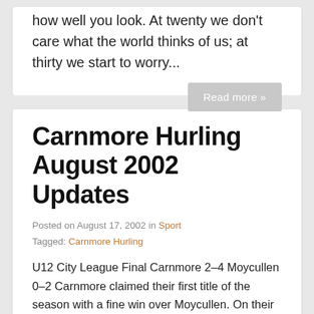how well you look. At twenty we don't care what the world thinks of us; at thirty we start to worry...
Read more »
Carnmore Hurling August 2002 Updates
Posted on August 17, 2002 in Sport
Tagged: Carnmore Hurling
U12 City League Final Carnmore 2–4 Moycullen 0–2 Carnmore claimed their first title of the season with a fine win over Moycullen. On their way to the final Carnmore had victories over Sylane, Moycullen, Oranmore, Spiddal and Rahoon. On the day of the final Carnmore